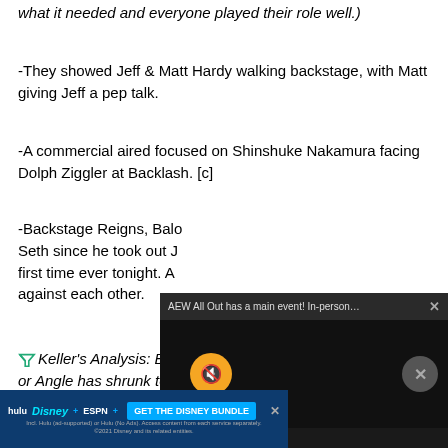what it needed and everyone played their role well.)
-They showed Jeff & Matt Hardy walking backstage, with Matt giving Jeff a pep talk.
-A commercial aired focused on Shinshuke Nakamura facing Dolph Ziggler at Backlash. [c]
-Backstage Reigns, Balor [partially obscured] Seth since he took out [obscured] first time ever tonight. A[obscured] against each other.
Keller's Analysis: Balor d[partially obscured] or Angle has shrunk to Ha[obscured] conside[obscured] e booed [obscured] booking sense, I suppose, but it also puts Reigns in a situation
[Figure (screenshot): AEW All Out popup video overlay with mute button and close button on dark background]
[Figure (screenshot): Disney Bundle advertisement banner with Hulu, Disney+, ESPN+ logos and GET THE DISNEY BUNDLE call to action]